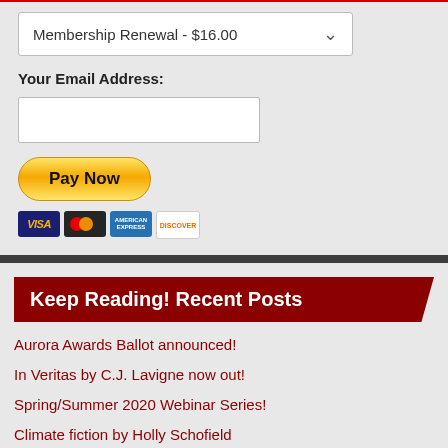Membership Renewal - $16.00
Your Email Address:
[Figure (screenshot): Pay Now button with PayPal and credit card icons (Visa, Mastercard, American Express, Discover)]
Keep Reading! Recent Posts
Aurora Awards Ballot announced!
In Veritas by C.J. Lavigne now out!
Spring/Summer 2020 Webinar Series!
Climate fiction by Holly Schofield
Two SF Canada members are Rhysling Award Nominees!